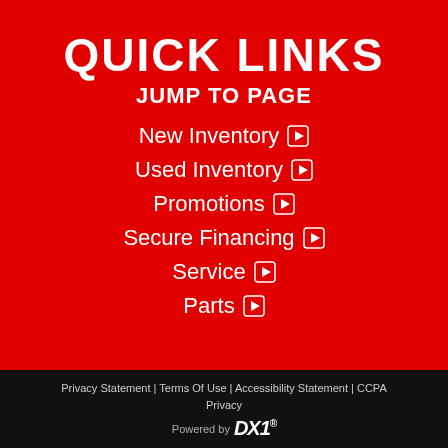QUICK LINKS
JUMP TO PAGE
New Inventory ▶
Used Inventory ▶
Promotions ▶
Secure Financing ▶
Service ▶
Parts ▶
Privacy Statement | Terms Of Use | Accessibility Statement | CCPA Privacy
Powered by DX1®